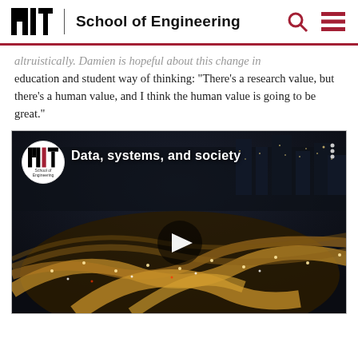MIT School of Engineering
altruistically. Damien is hopeful about this change in education and student way of thinking: “There’s a research value, but there’s a human value, and I think the human value is going to be great.”
[Figure (screenshot): YouTube-style video thumbnail showing an aerial night view of a complex highway interchange with the title 'Data, systems, and society' and MIT School of Engineering logo badge in the top-left corner.]